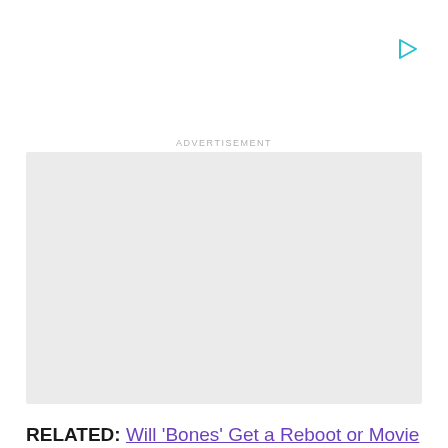[Figure (other): Small teal/cyan play button triangle icon in upper right area]
ADVERTISEMENT
[Figure (other): Light gray advertisement placeholder box]
RELATED: Will 'Bones' Get a Reboot or Movie